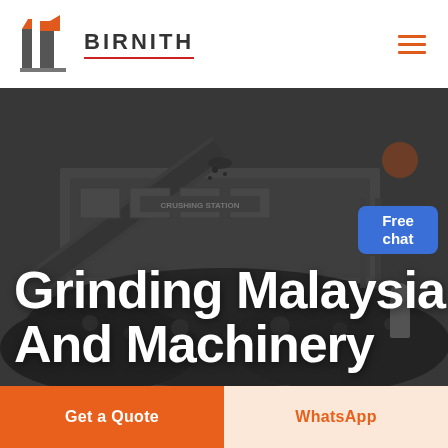[Figure (logo): Birnith company logo: orange and dark building/pillar icon with brand name BIRNITH in bold uppercase with red underline]
[Figure (photo): Industrial mining/crushing station machinery with conveyor belt and large pile of coal/rocks in dark industrial setting]
Grinding Malaysia And Machinery
[Figure (infographic): Blue Free chat bubble button with customer service representative image]
Get a Quote
WhatsApp